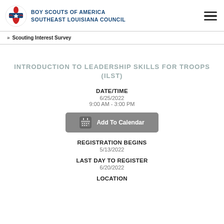BOY SCOUTS OF AMERICA SOUTHEAST LOUISIANA COUNCIL
Scouting Interest Survey
INTRODUCTION TO LEADERSHIP SKILLS FOR TROOPS (ILST)
DATE/TIME
6/25/2022
9:00 AM - 3:00 PM
Add To Calendar
REGISTRATION BEGINS
5/13/2022
LAST DAY TO REGISTER
6/20/2022
LOCATION